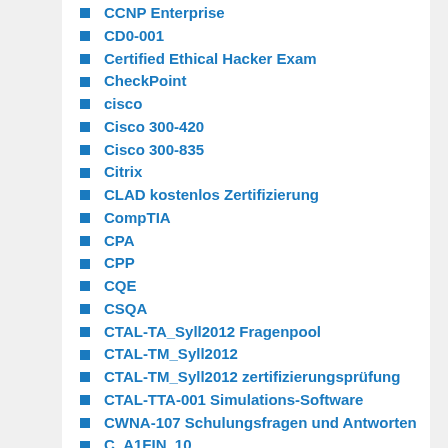CCNP Enterprise
CD0-001
Certified Ethical Hacker Exam
CheckPoint
cisco
Cisco 300-420
Cisco 300-835
Citrix
CLAD kostenlos Zertifizierung
CompTIA
CPA
CPP
CQE
CSQA
CTAL-TA_Syll2012 Fragenpool
CTAL-TM_Syll2012
CTAL-TM_Syll2012 zertifizierungsprüfung
CTAL-TTA-001 Simulations-Software
CWNA-107 Schulungsfragen und Antworten
C_A1FIN_10
C_AUDSEC_731
C_BOCR_08 Prüfung Trainingsressourcen